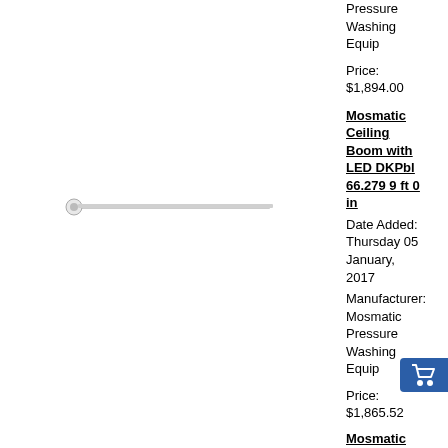Pressure Washing Equip
Price:
$1,894.00
[Figure (photo): Product image of Mosmatic Ceiling Boom with LED DKPbl, shown as a horizontal bar/arm against white background]
Mosmatic Ceiling Boom with LED DKPbl 66.279 9 ft 0 in
Date Added: Thursday 05 January, 2017
Manufacturer: Mosmatic Pressure Washing Equip
Price:
$1,865.52
Mosmatic